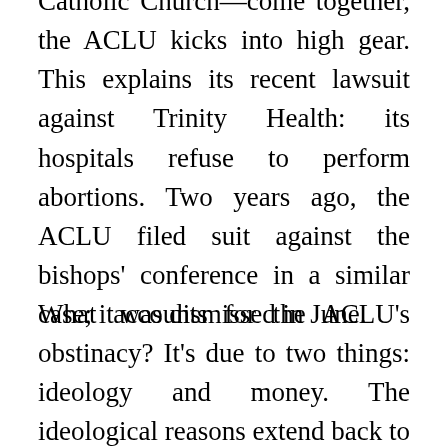Catholic Church—come together, the ACLU kicks into high gear. This explains its recent lawsuit against Trinity Health: its hospitals refuse to perform abortions. Two years ago, the ACLU filed suit against the bishops' conference in a similar case; it was dismissed in June.
What accounts for the ACLU's obstinacy? It's due to two things: ideology and money. The ideological reasons extend back to its founding: in 1920, it listed all the rights mentioned in the First Amendment save religious freedom. This was no acci...